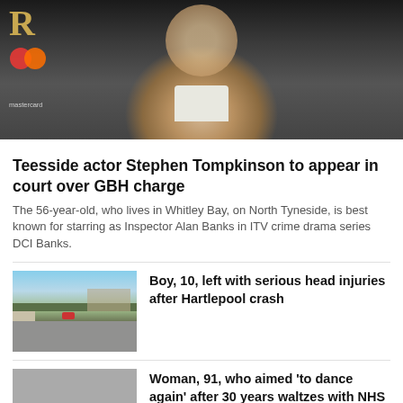[Figure (photo): A smiling man in a grey textured jacket and black bow tie at what appears to be an awards event, with a Mastercard logo and letter R visible in the background]
Teesside actor Stephen Tompkinson to appear in court over GBH charge
The 56-year-old, who lives in Whitley Bay, on North Tyneside, is best known for starring as Inspector Alan Banks in ITV crime drama series DCI Banks.
[Figure (photo): A road in Hartlepool with pavement and hedges on either side under a blue sky]
Boy, 10, left with serious head injuries after Hartlepool crash
[Figure (photo): Gray placeholder image]
Woman, 91, who aimed 'to dance again' after 30 years waltzes with NHS worker
[Figure (photo): Gray placeholder image]
Sunderland man jailed over gas blast which caused £1.4m of damage